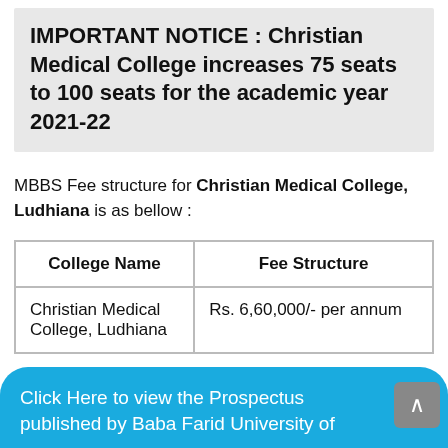IMPORTANT NOTICE : Christian Medical College increases 75 seats to 100 seats for the academic year 2021-22
MBBS Fee structure for Christian Medical College, Ludhiana is as bellow :
| College Name | Fee Structure |
| --- | --- |
| Christian Medical College, Ludhiana | Rs. 6,60,000/- per annum |
Click Here to view the Prospectus published by Baba Farid University of